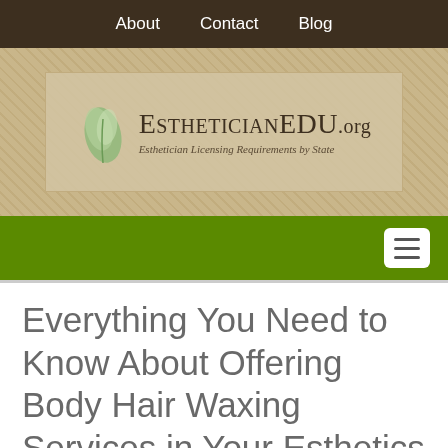About   Contact   Blog
[Figure (logo): EstheticianEDU.org logo with leaf graphic and tagline 'Esthetician Licensing Requirements by State']
Everything You Need to Know About Offering Body Hair Waxing Services in Your Esthetics Practice
FIND SCHOOLS!